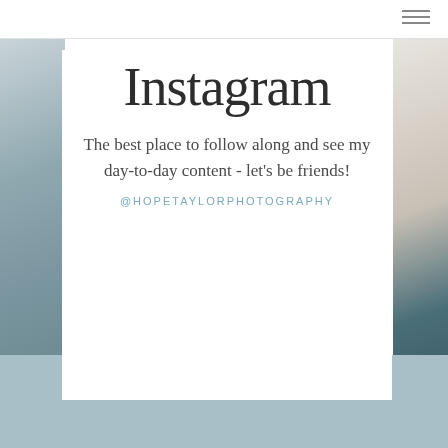Instagram
The best place to follow along and see my day-to-day content - let's be friends!
@HOPETAYLORPHOTOGRAPHY
NAVIGATE
HOME
SENIORS